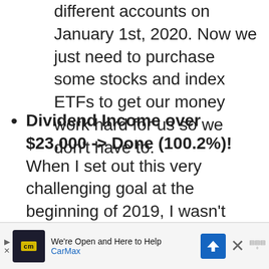different accounts on January 1st, 2020. Now we just need to purchase some stocks and index ETFs to get our money work hard for us so we don't have to.
Dividend Income over $23,000 -> Done (100.2%)! When I set out this very challenging goal at the beginning of 2019, I wasn't sure if we could accomplish this goal. I am happy to say that we received 23,049.16 in dividend income.
[Figure (other): CarMax advertisement banner: 'We're Open and Here to Help' with CarMax logo and navigation arrow icon]